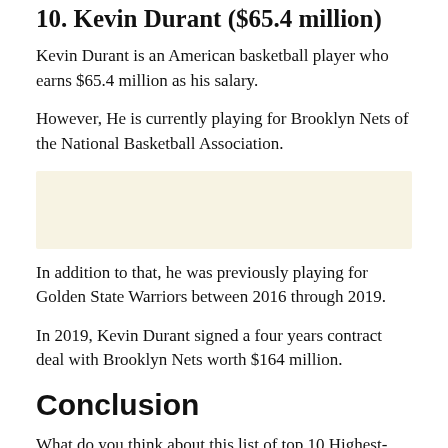10. Kevin Durant ($65.4 million)
Kevin Durant is an American basketball player who earns $65.4 million as his salary.
However, He is currently playing for Brooklyn Nets of the National Basketball Association.
[Figure (other): Advertisement or placeholder box with beige/cream background]
In addition to that, he was previously playing for Golden State Warriors between 2016 through 2019.
In 2019, Kevin Durant signed a four years contract deal with Brooklyn Nets worth $164 million.
Conclusion
What do you think about this list of top 10 Highest-Paid